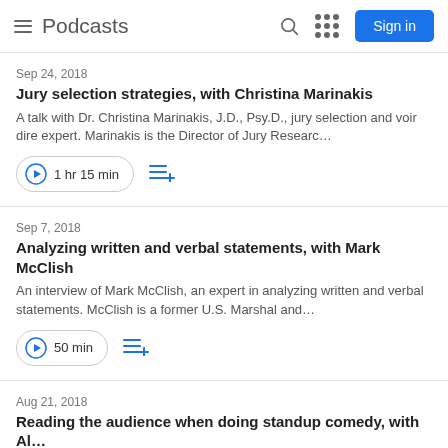Podcasts
Sep 24, 2018
Jury selection strategies, with Christina Marinakis
A talk with Dr. Christina Marinakis, J.D., Psy.D., jury selection and voir dire expert. Marinakis is the Director of Jury Researc…
1 hr 15 min
Sep 7, 2018
Analyzing written and verbal statements, with Mark McClish
An interview of Mark McClish, an expert in analyzing written and verbal statements. McClish is a former U.S. Marshal and…
50 min
Aug 21, 2018
Reading the audience when doing standup comedy, with Al…
An interview with Frank de Souza, a standup comedian and…